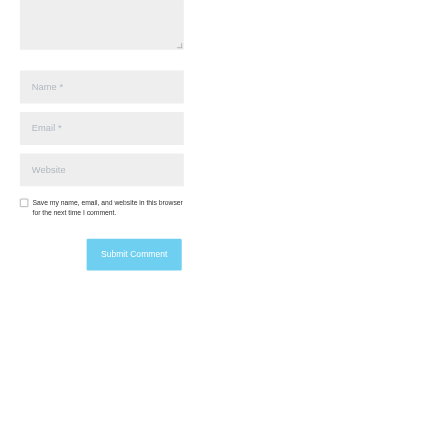[Figure (screenshot): A web comment form showing a textarea (partially visible at top), followed by three input fields labeled 'Name *', 'Email *', and 'Website', a checkbox with label 'Save my name, email, and website in this browser for the next time I comment.', and a blue 'Submit Comment' button.]